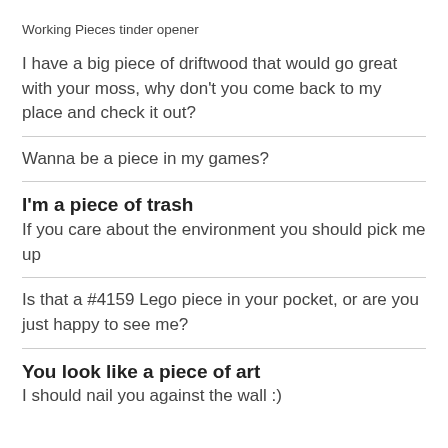Working Pieces tinder opener
I have a big piece of driftwood that would go great with your moss, why don't you come back to my place and check it out?
Wanna be a piece in my games?
I'm a piece of trash
If you care about the environment you should pick me up
Is that a #4159 Lego piece in your pocket, or are you just happy to see me?
You look like a piece of art
I should nail you against the wall :)